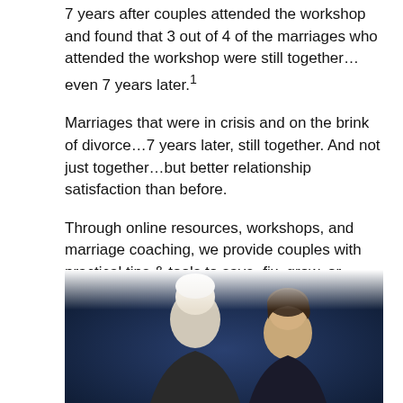7 years after couples attended the workshop and found that 3 out of 4 of the marriages who attended the workshop were still together…even 7 years later.¹
Marriages that were in crisis and on the brink of divorce…7 years later, still together. And not just together…but better relationship satisfaction than before.
Through online resources, workshops, and marriage coaching, we provide couples with practical tips & tools to save, fix, grow, or rebuild their marriage. "If anything works, this will."
–Kimberly Holmes, CEO
[Figure (photo): Two people (a man with white hair and a woman) photographed against a dark blue background, partially visible at the bottom of the page.]